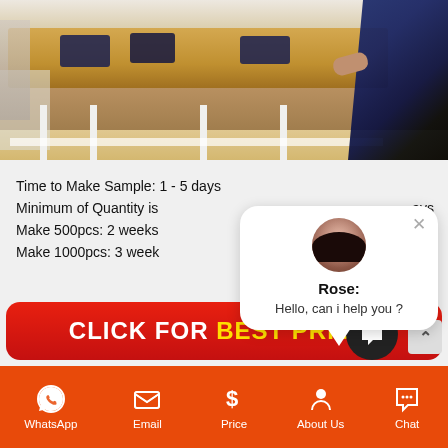[Figure (photo): Workspace photo showing a wooden table with dark fabric items being arranged, person in dark blue patterned clothing visible on the right, white table legs visible]
Time to Make Sample: 1 - 5 days
Minimum of Quantity is ... days
Make 500pcs: 2 weeks
Make 1000pcs: 3 weeks
[Figure (infographic): Red banner with text CLICK FOR BEST PRICE! where BEST PRICE is in yellow]
[Figure (other): Rose chat popup with avatar photo, name Rose:, and message Hello, can i help you ?]
WhatsApp | Email | Price | About Us | Chat